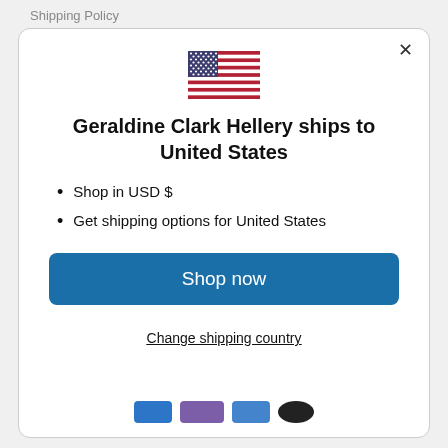Shipping Policy
[Figure (illustration): US flag emoji/icon centered at top of modal]
Geraldine Clark Hellery ships to United States
Shop in USD $
Get shipping options for United States
Shop now
Change shipping country